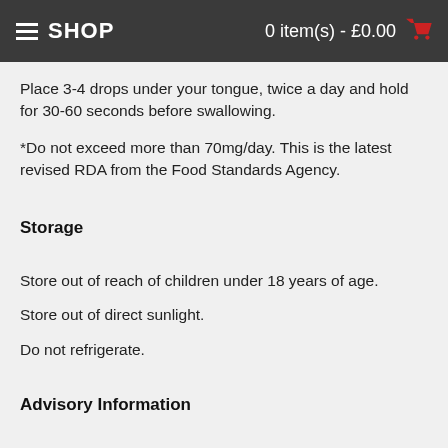SHOP   0 item(s) - £0.00
Place 3-4 drops under your tongue, twice a day and hold for 30-60 seconds before swallowing.
*Do not exceed more than 70mg/day. This is the latest revised RDA from the Food Standards Agency.
Storage
Store out of reach of children under 18 years of age.
Store out of direct sunlight.
Do not refrigerate.
Advisory Information
If taking any medication, please consult a doctor before taking any CBD product.
Do not use if pregnant or breastfeeding.